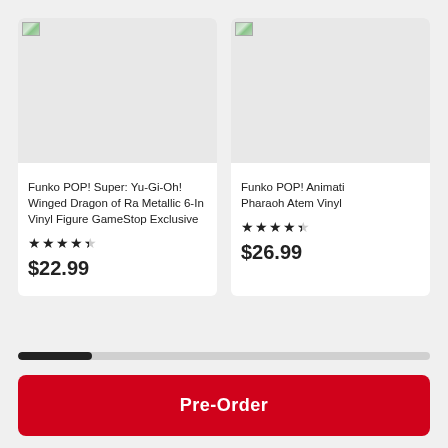[Figure (photo): Product image placeholder for Funko POP! Super: Yu-Gi-Oh! Winged Dragon of Ra Metallic 6-In Vinyl Figure GameStop Exclusive]
Funko POP! Super: Yu-Gi-Oh! Winged Dragon of Ra Metallic 6-In Vinyl Figure GameStop Exclusive
★★★★☆ (4 out of 5 stars, half star)
$22.99
[Figure (photo): Product image placeholder for Funko POP! Animation: Pharaoh Atem Vinyl]
Funko POP! Animati... Pharaoh Atem Vinyl
★★★★☆ (4.5 stars)
$26.99
Pre-Order